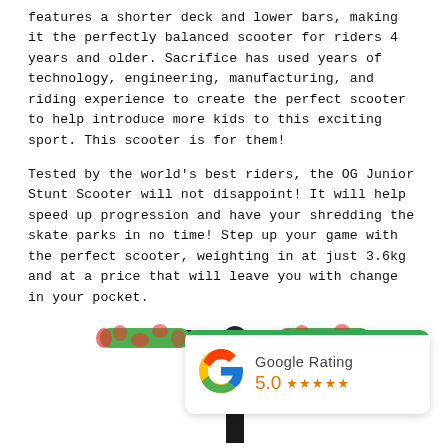features a shorter deck and lower bars, making it the perfectly balanced scooter for riders 4 years and older. Sacrifice has used years of technology, engineering, manufacturing, and riding experience to create the perfect scooter to help introduce more kids to this exciting sport. This scooter is for them!
Tested by the world's best riders, the OG Junior Stunt Scooter will not disappoint! It will help speed up progression and have your shredding the skate parks in no time! Step up your game with the perfect scooter, weighting in at just 3.6kg and at a price that will leave you with change in your pocket.
[Figure (photo): A stunt scooter handlebar (T-bar) with green and red patterned grips, shown against a white background. A Google Rating card showing 5.0 with 5 orange stars is overlaid in the bottom right.]